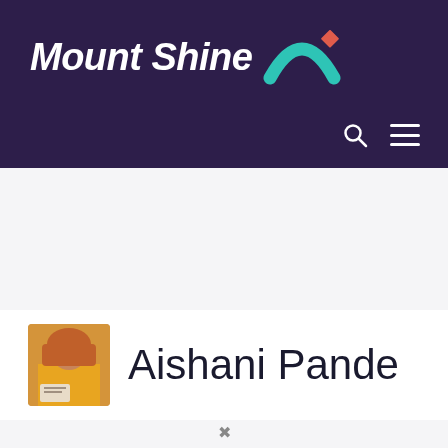[Figure (logo): Mount Shine logo with white italic bold text, teal rainbow arc icon, and red diamond accent on dark purple background]
[Figure (photo): Small avatar photo of Aishani Pande, a person in a yellow outfit]
Aishani Pande